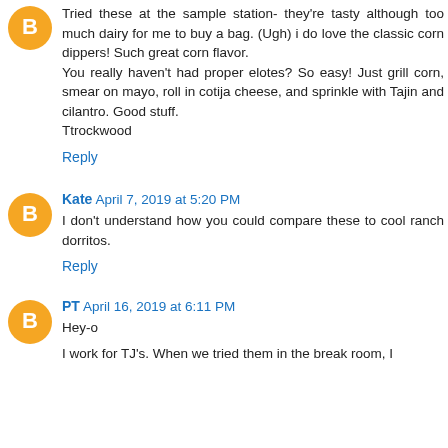Tried these at the sample station- they're tasty although too much dairy for me to buy a bag. (Ugh) i do love the classic corn dippers! Such great corn flavor.
You really haven't had proper elotes? So easy! Just grill corn, smear on mayo, roll in cotija cheese, and sprinkle with Tajin and cilantro. Good stuff.
Ttrockwood
Reply
Kate April 7, 2019 at 5:20 PM
I don't understand how you could compare these to cool ranch dorritos.
Reply
PT April 16, 2019 at 6:11 PM
Hey-o
I work for TJ's. When we tried them in the break room, I